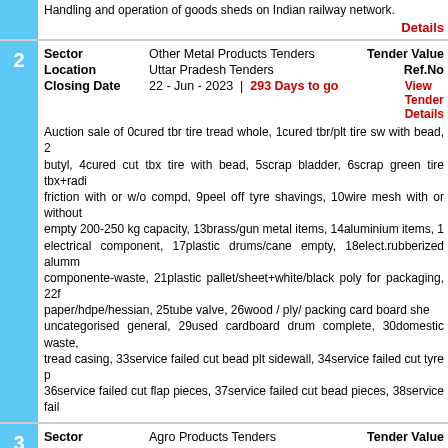Handling and operation of goods sheds on Indian railway network.
Details
| Field | Value | Right |
| --- | --- | --- |
| Sector | Other Metal Products Tenders | Tender Value |
| Location | Uttar Pradesh Tenders | Ref.No |
| Closing Date | 22 - Jun - 2023  |  293 Days to go | View Tender Details |
Auction sale of 0cured tbr tire tread whole, 1cured tbr/plt tire sw with bead, 2cured tbr/plt tire sw w/o bead, 3cured cut tbr/butyl, 4cured cut tbx tire with bead, 5scrap bladder, 6scrap green tire tbx+radi friction with or w/o compd, 9peel off tyre shavings, 10wire mesh with or without empty 200-250 kg capacity, 13brass/gun metal items, 14aluminium items, 1 electrical component, 17plastic drums/cane empty, 18elect.rubberized alumm componente-waste, 21plastic pallet/sheet+white/black poly for packaging, 22f paper/hdpe/hessian, 25tube valve, 26wood / ply/ packing card board she uncategorised general, 29used cardboard drum complete, 30domestic waste, tread casing, 33service failed cut bead plt sidewall, 34service failed cut tyre p 36service failed cut flap pieces, 37service failed cut bead pieces, 38service fail
| Field | Value | Right |
| --- | --- | --- |
| Sector | Agro Products Tenders | Tender Value |
| Location | Haryana Tenders | Ref.No |
| Closing Date | 30 - Apr - 2023  |  240 Days to go | View Tender Details |
appointment of rtc
| Field | Value | Right |
| --- | --- | --- |
| Sector | Other Electrical Products Tenders | Tender Value |